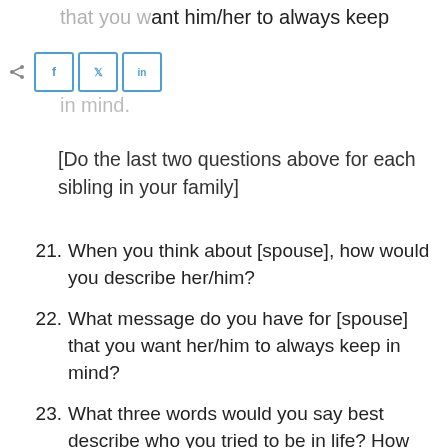that you want him/her to always keep in mind.
[Figure (other): Social share bar with Facebook, Twitter, and LinkedIn buttons]
[Do the last two questions above for each sibling in your family]
21. When you think about [spouse], how would you describe her/him?
22. What message do you have for [spouse] that you want her/him to always keep in mind?
23. What three words would you say best describe who you tried to be in life? How would you like to be